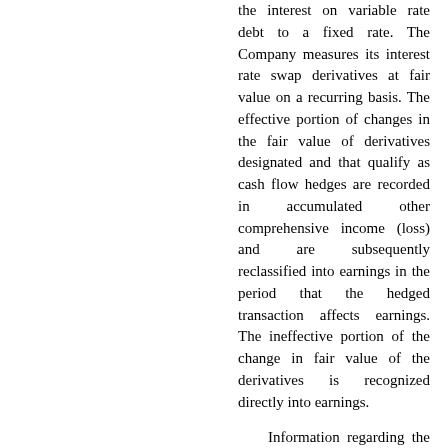the interest on variable rate debt to a fixed rate. The Company measures its interest rate swap derivatives at fair value on a recurring basis. The effective portion of changes in the fair value of derivatives designated and that qualify as cash flow hedges are recorded in accumulated other comprehensive income (loss) and are subsequently reclassified into earnings in the period that the hedged transaction affects earnings. The ineffective portion of the change in fair value of the derivatives is recognized directly into earnings.
Information regarding the Company's interest rate swaps measured at fair value, which are classified within Level 2 of the GAAP fair value hierarchy